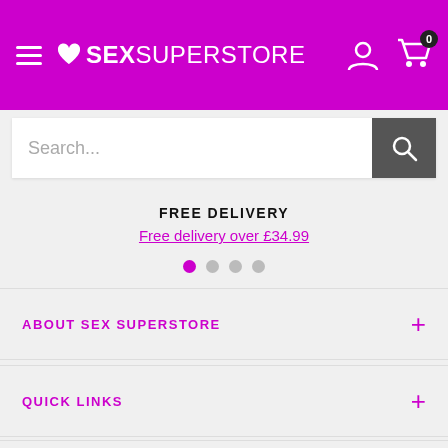SEX SUPERSTORE — navigation header with hamburger menu, logo, user icon, cart (0)
Search...
FREE DELIVERY
Free delivery over £34.99
ABOUT SEX SUPERSTORE
QUICK LINKS
GET IN TOUCH